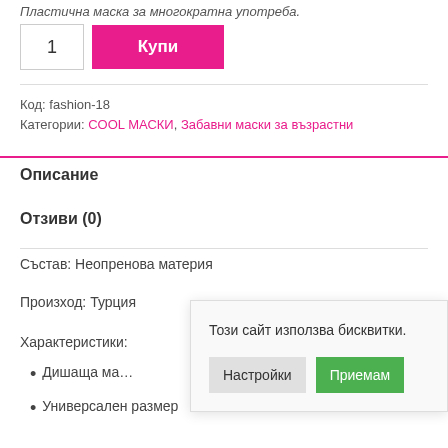Пластична маска за многократна употреба.
1
Купи
Код: fashion-18
Категории: COOL МАСКИ, Забавни маски за възрастни
Описание
Отзиви (0)
Състав: Неопренова материя
Произход: Турция
Характеристики:
Дишаща ма…
Универсален размер
Този сайт използва бисквитки.
Настройки
Приемам